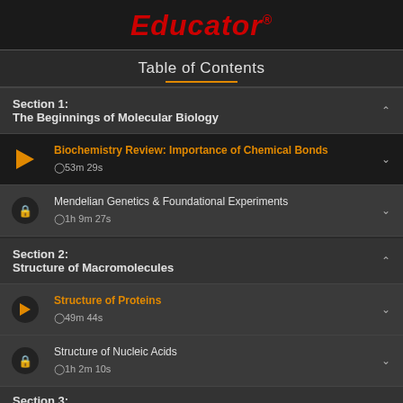Educator
Table of Contents
Section 1: The Beginnings of Molecular Biology
Biochemistry Review: Importance of Chemical Bonds
⏱53m 29s
Mendelian Genetics & Foundational Experiments
⏱1h 9m 27s
Section 2: Structure of Macromolecules
Structure of Proteins
⏱49m 44s
Structure of Nucleic Acids
⏱1h 2m 10s
Section 3: